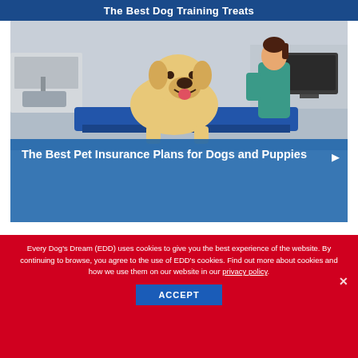The Best Dog Training Treats
[Figure (photo): A golden retriever dog sitting in a veterinary examination room, smiling at the camera. A veterinarian or vet tech in teal scrubs stands in the background near a sink. Medical equipment and a computer monitor are visible in the background.]
The Best Pet Insurance Plans for Dogs and Puppies
Every Dog's Dream (EDD) uses cookies to give you the best experience of the website. By continuing to browse, you agree to the use of EDD's cookies. Find out more about cookies and how we use them on our website in our privacy policy.
ACCEPT